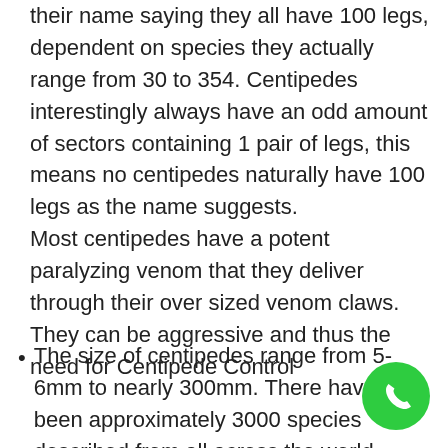their name saying they all have 100 legs, dependent on species they actually range from 30 to 354. Centipedes interestingly always have an odd amount of sectors containing 1 pair of legs, this means no centipedes naturally have 100 legs as the name suggests. Most centipedes have a potent paralyzing venom that they deliver through their over sized venom claws. They can be aggressive and thus the need for Centipede Control
The size of centipedes range from 5-6mm to nearly 300mm. There have been approximately 3000 species described from all across the world. These insects are carnivorous insects that mainly feed off other insects. larger species have been